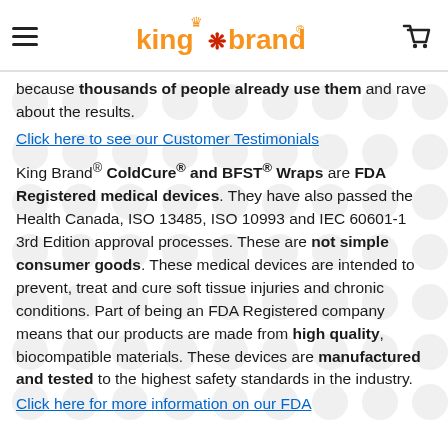King Brand® [logo]
because thousands of people already use them and rave about the results.
Click here to see our Customer Testimonials
King Brand® ColdCure® and BFST® Wraps are FDA Registered medical devices. They have also passed the Health Canada, ISO 13485, ISO 10993 and IEC 60601-1 3rd Edition approval processes. These are not simple consumer goods. These medical devices are intended to prevent, treat and cure soft tissue injuries and chronic conditions. Part of being an FDA Registered company means that our products are made from high quality, biocompatible materials. These devices are manufactured and tested to the highest safety standards in the industry.
Click here for more information on our FDA